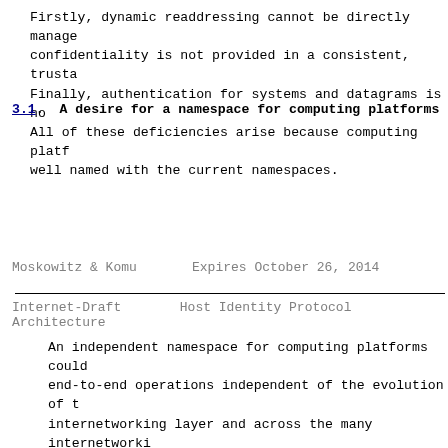Firstly, dynamic readdressing cannot be directly manage confidentiality is not provided in a consistent, trusta Finally, authentication for systems and datagrams is no All of these deficiencies arise because computing platf well named with the current namespaces.
3.1.  A desire for a namespace for computing platforms
Moskowitz & Komu          Expires October 26, 2014
Internet-Draft      Host Identity Protocol Architecture
An independent namespace for computing platforms could end-to-end operations independent of the evolution of t internetworking layer and across the many internetworki This could support rapid readdressing of the internetwo because of mobility, rehoming, or renumbering.

If the namespace for computing platforms is based on pu cryptography, it can also provide authentication servic namespace is locally created without requiring registra provide anonymity.

Such a namespace (for computing platforms) and the name